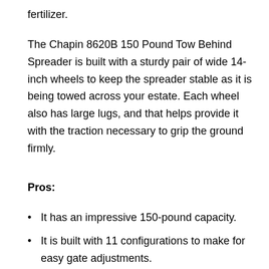fertilizer.
The Chapin 8620B 150 Pound Tow Behind Spreader is built with a sturdy pair of wide 14-inch wheels to keep the spreader stable as it is being towed across your estate. Each wheel also has large lugs, and that helps provide it with the traction necessary to grip the ground firmly.
Pros:
It has an impressive 150-pound capacity.
It is built with 11 configurations to make for easy gate adjustments.
It is maneuverable.